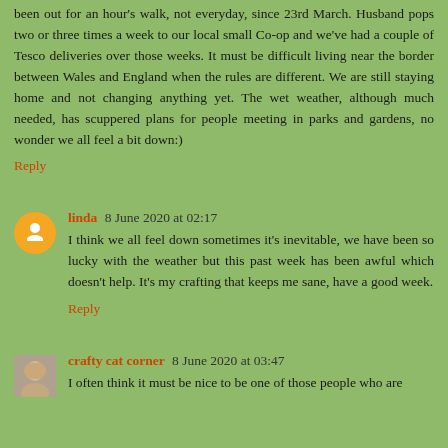been out for an hour's walk, not everyday, since 23rd March. Husband pops two or three times a week to our local small Co-op and we've had a couple of Tesco deliveries over those weeks. It must be difficult living near the border between Wales and England when the rules are different. We are still staying home and not changing anything yet. The wet weather, although much needed, has scuppered plans for people meeting in parks and gardens, no wonder we all feel a bit down:)
Reply
linda  8 June 2020 at 02:17
I think we all feel down sometimes it's inevitable, we have been so lucky with the weather but this past week has been awful which doesn't help. It's my crafting that keeps me sane, have a good week.
Reply
crafty cat corner  8 June 2020 at 03:47
I often think it must be nice to be one of those people who are